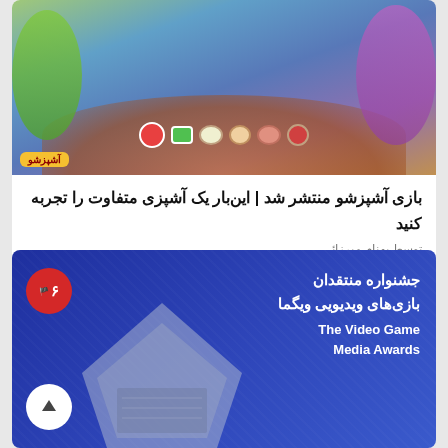[Figure (photo): Animated cooking game screenshot showing cartoon characters around a decorated table with Persian Nowruz spread, colorful dishes, sweets and hyacinth plant. Logo in bottom left reads آشپزشو in yellow.]
بازی آشپزشو منتشر شد | این‌بار یک آشپزی متفاوت را تجربه کنید
توسط بهنام میرزائی
[Figure (photo): Dark blue card showing text in Persian: جشنواره منتقدان بازی‌های ویدیویی ویگما and in English: The Video Game Media Awards. A red badge with flag icon and number 6, a white circle with up arrow, and a trophy shape in the lower portion of the card.]